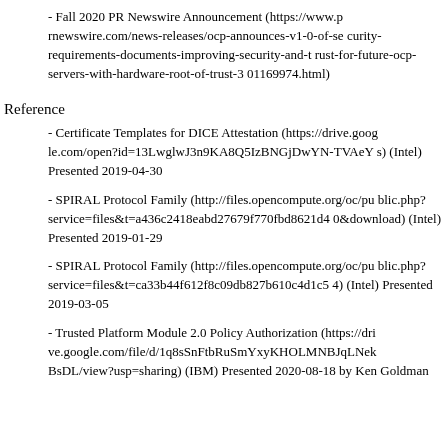- Fall 2020 PR Newswire Announcement (https://www.prnewswire.com/news-releases/ocp-announces-v1-0-of-security-requirements-documents-improving-security-and-trust-for-future-ocp-servers-with-hardware-root-of-trust-301169974.html)
Reference
- Certificate Templates for DICE Attestation (https://drive.google.com/open?id=13LwglwJ3n9KA8Q5IzBNGjDwYN-TVAeYs) (Intel) Presented 2019-04-30
- SPIRAL Protocol Family (http://files.opencompute.org/oc/public.php?service=files&t=a436c2418eabd27679f770fbd8621d40&download) (Intel) Presented 2019-01-29
- SPIRAL Protocol Family (http://files.opencompute.org/oc/public.php?service=files&t=ca33b44f612f8c09db827b610c4d1c54) (Intel) Presented 2019-03-05
- Trusted Platform Module 2.0 Policy Authorization (https://drive.google.com/file/d/1q8sSnFtbRuSmYxyKHOLMNBJqLNekBsDL/view?usp=sharing) (IBM) Presented 2020-08-18 by Ken Goldman